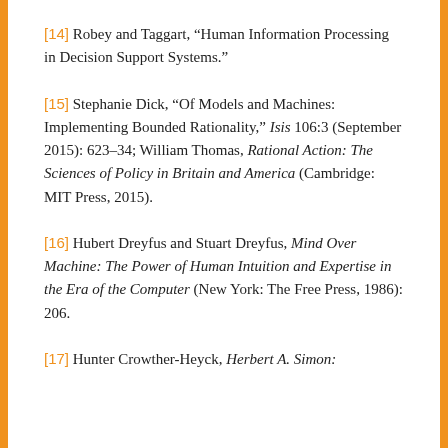[14] Robey and Taggart, “Human Information Processing in Decision Support Systems.”
[15] Stephanie Dick, “Of Models and Machines: Implementing Bounded Rationality,” Isis 106:3 (September 2015): 623–34; William Thomas, Rational Action: The Sciences of Policy in Britain and America (Cambridge: MIT Press, 2015).
[16] Hubert Dreyfus and Stuart Dreyfus, Mind Over Machine: The Power of Human Intuition and Expertise in the Era of the Computer (New York: The Free Press, 1986): 206.
[17] Hunter Crowther-Heyck, Herbert A. Simon: